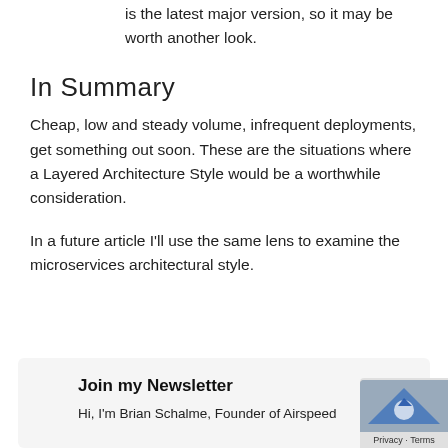is the latest major version, so it may be worth another look.
In Summary
Cheap, low and steady volume, infrequent deployments, get something out soon. These are the situations where a Layered Architecture Style would be a worthwhile consideration.
In a future article I’ll use the same lens to examine the microservices architectural style.
Join my Newsletter
Hi, I’m Brian Schalme, Founder of Airspeed Consulting...